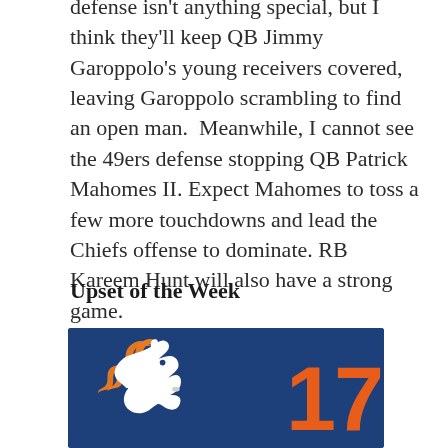defense isn't anything special, but I think they'll keep QB Jimmy Garoppolo's young receivers covered, leaving Garoppolo scrambling to find an open man.  Meanwhile, I cannot see the 49ers defense stopping QB Patrick Mahomes II. Expect Mahomes to toss a few more touchdowns and lead the Chiefs offense to dominate. RB Kareem Hunt will also have a strong game.
Upset of the Week
[Figure (photo): Denver Broncos logo on navy blue background with the number 17 in orange on the right side]